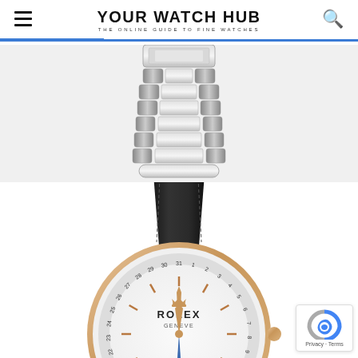YOUR WATCH HUB — THE ONLINE GUIDE TO FINE WATCHES
[Figure (photo): Close-up of a stainless steel jubilee bracelet watch strap with polished and brushed links, shown against a light grey background.]
[Figure (photo): Rolex Cellini moonphase watch with rose gold case, black crocodile leather strap, white dial showing date ring, moon phase complication at 6 o'clock, and rose gold hands with blue moonphase hand.]